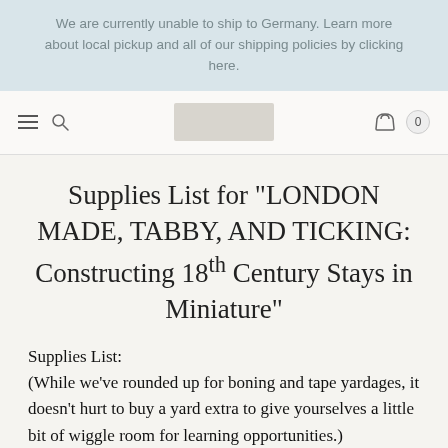We are currently unable to ship to Germany. Learn more about local pickup and all of our shipping policies by clicking here.
[Figure (screenshot): Navigation bar with hamburger menu, search icon, logo placeholder, cart icon and 0 count badge]
Supplies List for "LONDON MADE, TABBY, AND TICKING: Constructing 18th Century Stays in Miniature"
Supplies List:
(While we've rounded up for boning and tape yardages, it doesn't hurt to buy a yard extra to give yourselves a little bit of wiggle room for learning opportunities.)